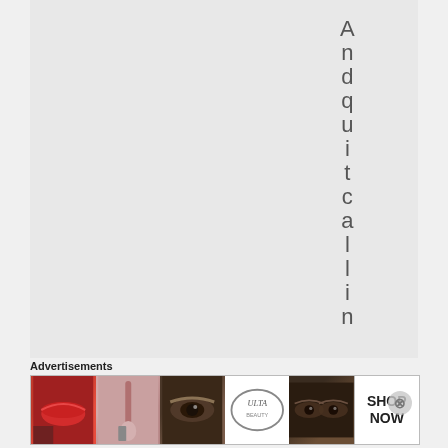[Figure (other): Vertical text spelling 'Andquitcalling' one character per line, centered on a light gray background]
Advertisements
[Figure (photo): Advertisement banner with beauty/makeup images including lips, brush, eye, ULTA logo, eyes, and SHOP NOW text]